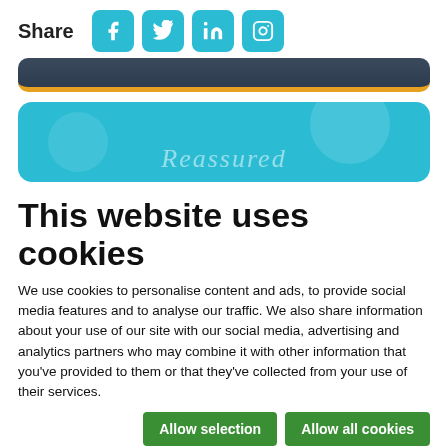Share
[Figure (screenshot): Social media share icons: Facebook, Twitter, LinkedIn, Instagram — teal rounded square buttons]
[Figure (screenshot): Dark navy/slate banner with orange bottom border stripe, rounded corners]
[Figure (screenshot): Teal/turquoise rounded rectangle banner with partial italic text 'Reassured' at the bottom]
This website uses cookies
We use cookies to personalise content and ads, to provide social media features and to analyse our traffic. We also share information about your use of our site with our social media, advertising and analytics partners who may combine it with other information that you've provided to them or that they've collected from your use of their services.
Allow selection | Allow all cookies
Necessary | Preferences | Statistics | Marketing | Show details